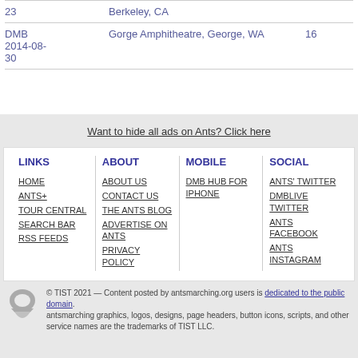| 23 | Berkeley, CA |  |
| DMB
2014-08-30 | Gorge Amphitheatre, George, WA | 16 |
Want to hide all ads on Ants? Click here
| LINKS | ABOUT | MOBILE | SOCIAL |
| --- | --- | --- | --- |
| HOME | ABOUT US | DMB HUB FOR IPHONE | ANTS' TWITTER |
| ANTS+ | CONTACT US |  | DMBLIVE TWITTER |
| TOUR CENTRAL | THE ANTS BLOG |  | ANTS FACEBOOK |
| SEARCH BAR | ADVERTISE ON ANTS |  | ANTS INSTAGRAM |
| RSS FEEDS | PRIVACY POLICY |  |  |
© TIST 2021 — Content posted by antsmarching.org users is dedicated to the public domain. antsmarching graphics, logos, designs, page headers, button icons, scripts, and other service names are the trademarks of TIST LLC.